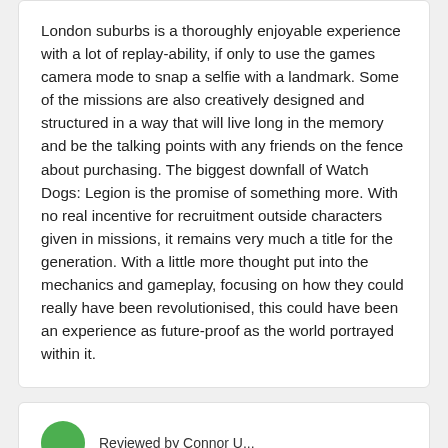London suburbs is a thoroughly enjoyable experience with a lot of replay-ability, if only to use the games camera mode to snap a selfie with a landmark. Some of the missions are also creatively designed and structured in a way that will live long in the memory and be the talking points with any friends on the fence about purchasing. The biggest downfall of Watch Dogs: Legion is the promise of something more. With no real incentive for recruitment outside characters given in missions, it remains very much a title for the generation. With a little more thought put into the mechanics and gameplay, focusing on how they could really have been revolutionised, this could have been an experience as future-proof as the world portrayed within it.
Reviewed by Connor U...